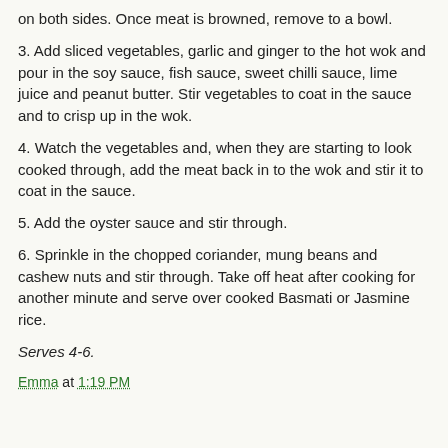on both sides. Once meat is browned, remove to a bowl.
3. Add sliced vegetables, garlic and ginger to the hot wok and pour in the soy sauce, fish sauce, sweet chilli sauce, lime juice and peanut butter. Stir vegetables to coat in the sauce and to crisp up in the wok.
4. Watch the vegetables and, when they are starting to look cooked through, add the meat back in to the wok and stir it to coat in the sauce.
5. Add the oyster sauce and stir through.
6. Sprinkle in the chopped coriander, mung beans and cashew nuts and stir through. Take off heat after cooking for another minute and serve over cooked Basmati or Jasmine rice.
Serves 4-6.
Emma at 1:19 PM